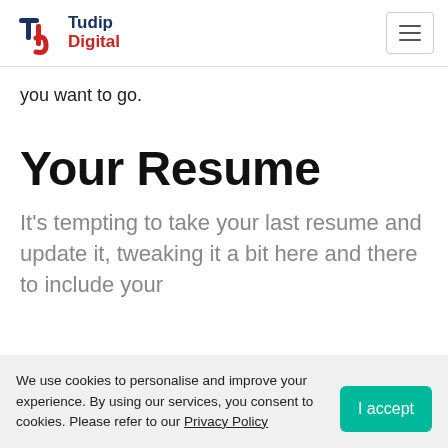Tudip Digital
you want to go.
Your Resume
It's tempting to take your last resume and update it, tweaking it a bit here and there to include your
We use cookies to personalise and improve your experience. By using our services, you consent to cookies. Please refer to our Privacy Policy